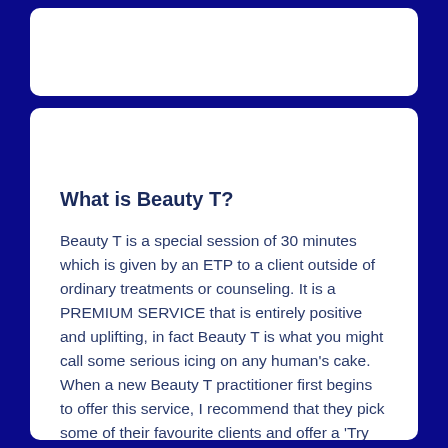What is Beauty T?
Beauty T is a special session of 30 minutes which is given by an ETP to a client outside of ordinary treatments or counseling. It is a PREMIUM SERVICE that is entirely positive and uplifting, in fact Beauty T is what you might call some serious icing on any human's cake. When a new Beauty T practitioner first begins to offer this service, I recommend that they pick some of their favourite clients and offer a 'Try Me!' treatment at a special offer price. This is for the practitioner to gain confidence and delight in conducting this unusual but so very wonderful treatment that is more of lifetime's experience than any kind of therapy.